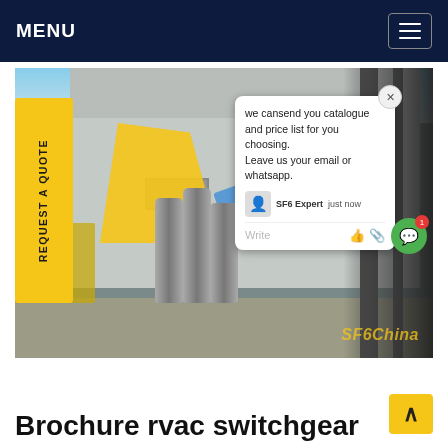MENU
[Figure (photo): Outdoor industrial site showing electrical switchgear installation with cylindrical gas containers, a crane/lift vehicle, concrete building wall, utility poles, and overhead electrical equipment. Chat popup overlay visible with message: 'we cansend you catalogue and price list for you choosing. Leave us your email or whatsapp.']
Brochure rvac switchgear